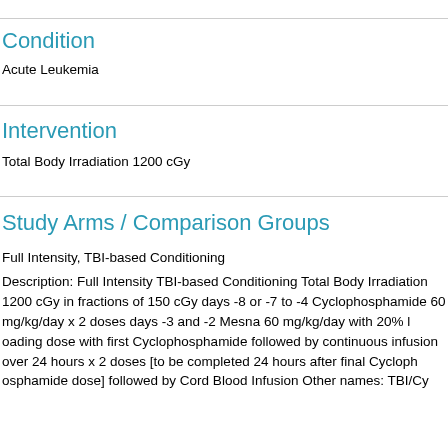Condition
Acute Leukemia
Intervention
Total Body Irradiation 1200 cGy
Study Arms / Comparison Groups
Full Intensity, TBI-based Conditioning
Description: Full Intensity TBI-based Conditioning Total Body Irradiation 1200 cGy in fractions of 150 cGy days -8 or -7 to -4 Cyclophosphamide 60 mg/kg/day x 2 doses days -3 and -2 Mesna 60 mg/kg/day with 20% loading dose with first Cyclophosphamide followed by continuous infusion over 24 hours x 2 doses [to be completed 24 hours after final Cyclophosphamide dose] followed by Cord Blood Infusion Other names: TBI/Cy